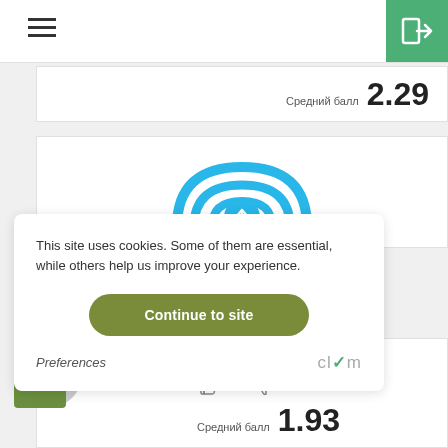[Figure (screenshot): Hamburger menu icon (three horizontal lines) in top-left navigation bar]
[Figure (logo): Green square login/enter button with white arrow icon in top-right corner]
Средний балл 2.29
[Figure (illustration): Blue cloud logo illustration with upload arrow icon (FinCloud branding)]
This site uses cookies. Some of them are essential, while others help us improve your experience.
Continue to site
Preferences
[Figure (logo): Clym logo in gray text with green checkmark]
FinCloud
0   0
Средний балл 1.93